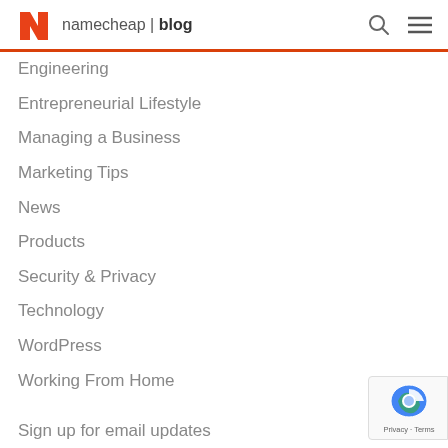namecheap | blog
Engineering
Entrepreneurial Lifestyle
Managing a Business
Marketing Tips
News
Products
Security & Privacy
Technology
WordPress
Working From Home
Sign up for email updates
Current Deals
GDPR Commitment
Contact Us
Go to Namecheap.com